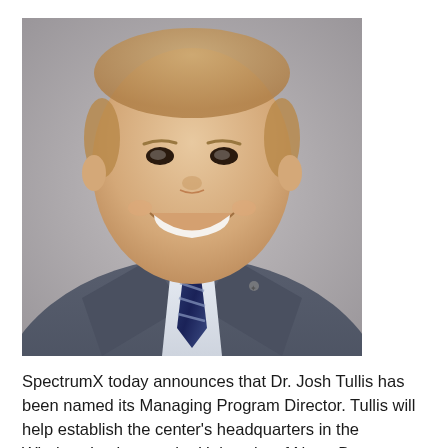[Figure (photo): Professional headshot of Dr. Josh Tullis, a man in a gray suit jacket with a blue striped tie and white shirt, smiling broadly, photographed against a neutral gray background.]
SpectrumX today announces that Dr. Josh Tullis has been named its Managing Program Director. Tullis will help establish the center's headquarters in the Wireless Institute at the University of Notre Dame.